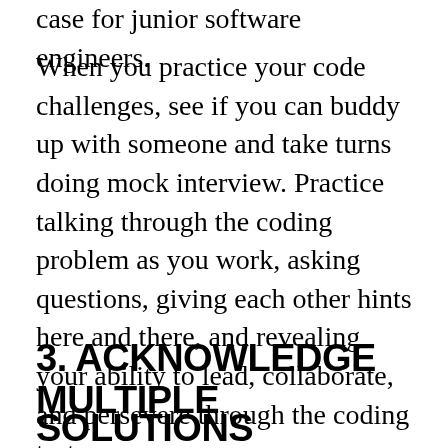case for junior software engineers.
When you practice your code challenges, see if you can buddy up with someone and take turns doing mock interview. Practice talking through the coding problem as you work, asking questions, giving each other hints here and there, and revealing your ability to lead, collaborate, and persevere through the coding test.
3. ACKNOWLEDGE MULTIPLE
SOLUTIONS